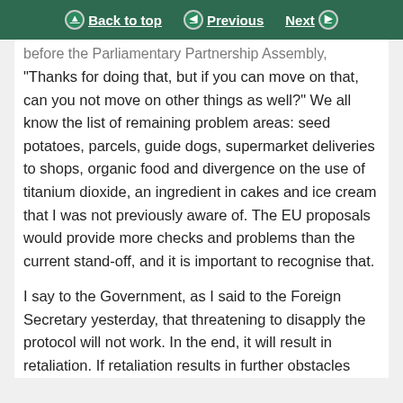Back to top | Previous | Next
before the Parliamentary Partnership Assembly,
“Thanks for doing that, but if you can move on that, can you not move on other things as well?” We all know the list of remaining problem areas: seed potatoes, parcels, guide dogs, supermarket deliveries to shops, organic food and divergence on the use of titanium dioxide, an ingredient in cakes and ice cream that I was not previously aware of. The EU proposals would provide more checks and problems than the current stand-off, and it is important to recognise that.
I say to the Government, as I said to the Foreign Secretary yesterday, that threatening to disapply the protocol will not work. In the end, it will result in retaliation. If retaliation results in further obstacles